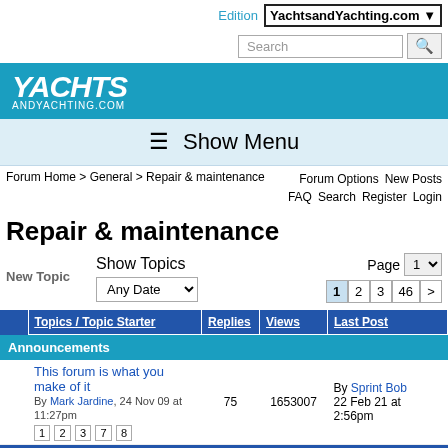Edition YachtsandYachting.com
[Figure (logo): YachtsandYachting.com logo white text on teal background]
☰ Show Menu
Forum Home > General > Repair & maintenance    Forum Options   New Posts   FAQ   Search   Register   Login
Repair & maintenance
New Topic    Show Topics    Any Date    Page 1   1 2 3 46 >
|  | Topics / Topic Starter | Replies | Views | Last Post |
| --- | --- | --- | --- | --- |
| Announcements |  |  |  |  |
| This forum is what you make of it
By Mark Jardine, 24 Nov 09 at 11:27pm
1 2 3 7 8 | 75 | 1653007 | By Sprint Bob
22 Feb 21 at 2:56pm |  |
| Forum Topics |  |  |  |  |